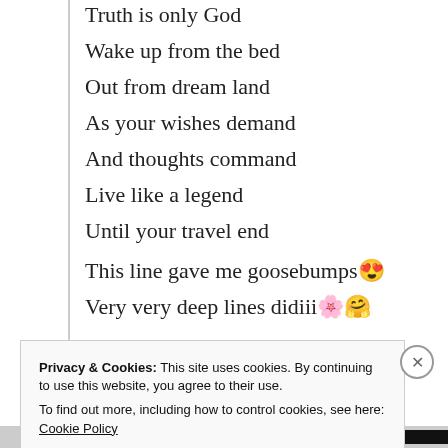Truth is only God
Wake up from the bed
Out from dream land
As your wishes demand
And thoughts command
Live like a legend
Until your travel end
This line gave me goosebumps🤓
Very very deep lines didiii🌺🤗
★ Liked by 5 people
Privacy & Cookies: This site uses cookies. By continuing to use this website, you agree to their use.
To find out more, including how to control cookies, see here: Cookie Policy
Close and accept